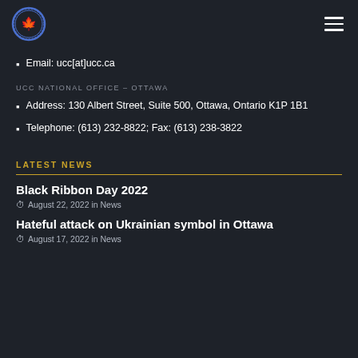UCC logo and navigation
Email: ucc[at]ucc.ca
UCC NATIONAL OFFICE – OTTAWA
Address: 130 Albert Street, Suite 500, Ottawa, Ontario K1P 1B1
Telephone: (613) 232-8822; Fax: (613) 238-3822
LATEST NEWS
Black Ribbon Day 2022
August 22, 2022 in News
Hateful attack on Ukrainian symbol in Ottawa
August 17, 2022 in News